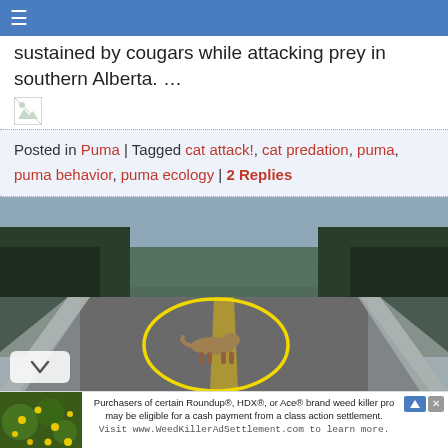≡
sustained by cougars while attacking prey in southern Alberta. …
[Figure (photo): Broken image placeholder icon]
Posted in Puma | Tagged cat attack!, cat predation, puma, puma behavior, puma ecology | 2 Replies
[Figure (photo): Video still of a cougar/puma crossing a road, circled in yellow, viewed from inside a car dashboard camera. Snowy winter scene with pine trees on both sides of the road.]
[Figure (photo): Advertisement banner: photo of yellow flowers on left, text about Roundup/HDX/Ace brand weed killer class action settlement. Visit www.WeedKillerAdSettlement.com to learn more.]